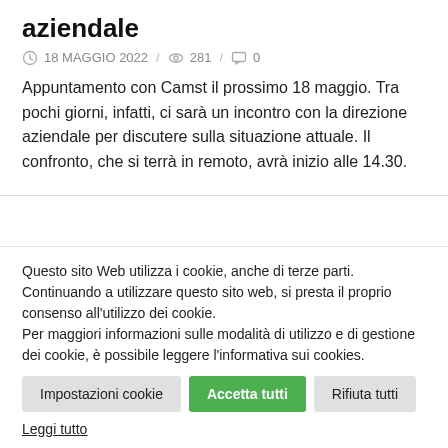aziendale
18 MAGGIO 2022  /  281  /  0
Appuntamento con Camst il prossimo 18 maggio. Tra pochi giorni, infatti, ci sarà un incontro con la direzione aziendale per discutere sulla situazione attuale. Il confronto, che si terrà in remoto, avrà inizio alle 14.30.
Questo sito Web utilizza i cookie, anche di terze parti. Continuando a utilizzare questo sito web, si presta il proprio consenso all'utilizzo dei cookie.
Per maggiori informazioni sulle modalità di utilizzo e di gestione dei cookie, è possibile leggere l'informativa sui cookies.
Impostazioni cookie
Accetta tutti
Rifiuta tutti
Leggi tutto